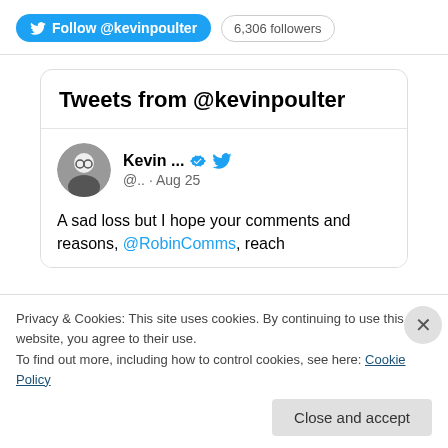[Figure (screenshot): Twitter Follow button for @kevinpoulter with '6,306 followers' badge]
Tweets from @kevinpoulter
[Figure (screenshot): Tweet by Kevin ... (@.. · Aug 25) with verified badge and Twitter bird icon. Text: A sad loss but I hope your comments and reasons, @RobinComms, reach]
Privacy & Cookies: This site uses cookies. By continuing to use this website, you agree to their use.
To find out more, including how to control cookies, see here: Cookie Policy
Close and accept